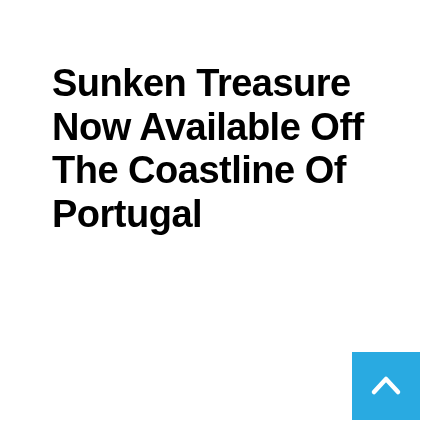Sunken Treasure Now Available Off The Coastline Of Portugal
[Figure (other): Back to top button — blue square with white upward-pointing chevron/arrow icon in the bottom-right corner]